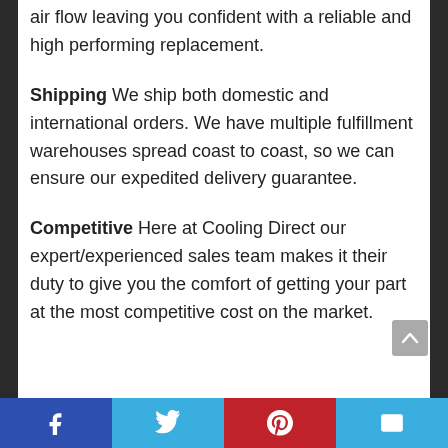air flow leaving you confident with a reliable and high performing replacement.
Shipping We ship both domestic and international orders. We have multiple fulfillment warehouses spread coast to coast, so we can ensure our expedited delivery guarantee.
Competitive Here at Cooling Direct our expert/experienced sales team makes it their duty to give you the comfort of getting your part at the most competitive cost on the market.
Facebook Twitter Pinterest Email